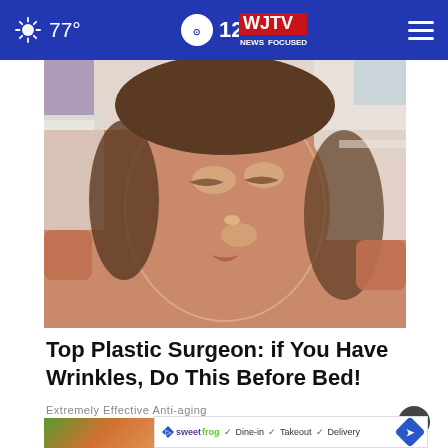77° | WJTV 12 News Focused On You
[Figure (photo): Woman lying down with eyes closed, white towel wrapped around her head, shiny/glossy skincare treatment or cream applied to her face, being touched by hands on either side]
Top Plastic Surgeon: if You Have Wrinkles, Do This Before Bed!
Extremely Effective Anti-aging
[Figure (photo): Partial view of a second article image at the bottom of the page with colorful outdoor background]
SweetFrog ✓ Dine-in ✓ Takeout ✓ Delivery